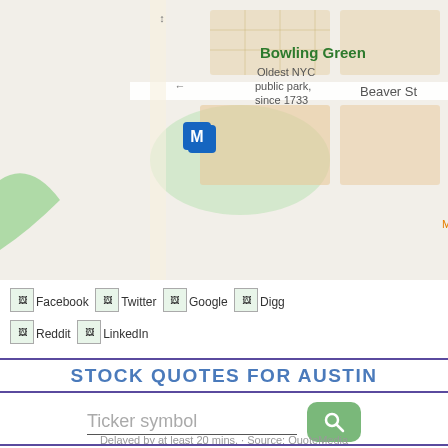[Figure (map): Google Maps screenshot showing lower Manhattan area with Bowling Green park, Beaver St, Tacombi Mexican restaurant, Toro Loco Mexican restaurant, National Museum of the American Indian, and Stone Street markers. Bus and metro transit icons visible.]
[Figure (other): Social sharing icons row: Facebook, Twitter, Google, Digg on first line; Reddit, LinkedIn on second line. Each icon is a small image with text label.]
STOCK QUOTES FOR AUSTIN
Ticker symbol
Delayed by at least 20 mins. · Source: QuoteMedia
WEATHER FORECAST FOR...